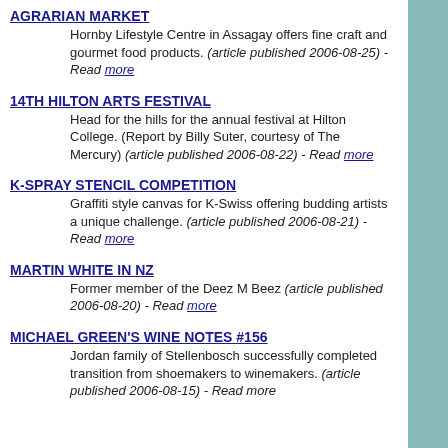AGRARIAN MARKET — Hornby Lifestyle Centre in Assagay offers fine craft and gourmet food products. (article published 2006-08-25) - Read more
14TH HILTON ARTS FESTIVAL — Head for the hills for the annual festival at Hilton College. (Report by Billy Suter, courtesy of The Mercury) (article published 2006-08-22) - Read more
K-SPRAY STENCIL COMPETITION — Graffiti style canvas for K-Swiss offering budding artists a unique challenge. (article published 2006-08-21) - Read more
MARTIN WHITE IN NZ — Former member of the Deez M Beez (article published 2006-08-20) - Read more
MICHAEL GREEN'S WINE NOTES #156 — Jordan family of Stellenbosch successfully completed transition from shoemakers to winemakers. (article published 2006-08-15) - Read more